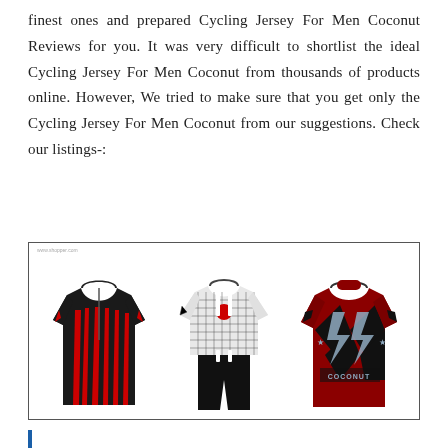finest ones and prepared Cycling Jersey For Men Coconut Reviews for you. It was very difficult to shortlist the ideal Cycling Jersey For Men Coconut from thousands of products online. However, We tried to make sure that you get only the Cycling Jersey For Men Coconut from our suggestions. Check our listings-:
[Figure (photo): Three cycling jerseys displayed: left - black and red long sleeve cycling jersey, center - black and white patterned cycling jersey with matching bib tights, right - dark red and black geometric long sleeve jersey with 'COCONUT' text]